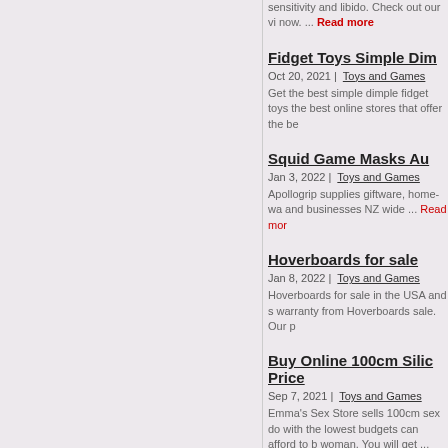sensitivity and libido. Check out our vi now. ... Read more
Fidget Toys Simple Dim
Oct 20, 2021 | Toys and Games
Get the best simple dimple fidget toys the best online stores that offer the be
Squid Game Masks Au
Jan 3, 2022 | Toys and Games
Apollogrip supplies giftware, home-wa and businesses NZ wide ... Read more
Hoverboards for sale
Jan 8, 2022 | Toys and Games
Hoverboards for sale in the USA and s warranty from Hoverboards sale. Our p
Buy Online 100cm Silic Price
Sep 7, 2021 | Toys and Games
Emma's Sex Store sells 100cm sex do with the lowest budgets can afford to b woman. You will get ... Read more
Online Toy Store Dubai